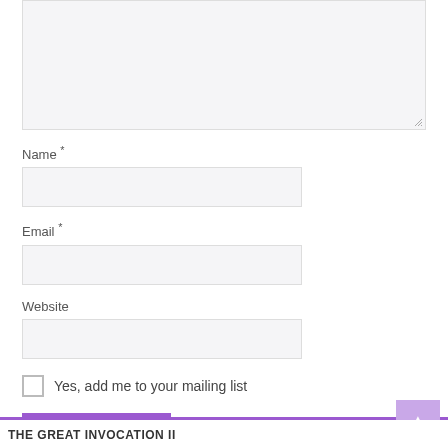[Figure (screenshot): Comment form textarea (top portion, empty, light gray background with resize handle)]
Name *
[Figure (screenshot): Name input field, empty, light gray background]
Email *
[Figure (screenshot): Email input field, empty, light gray background]
Website
[Figure (screenshot): Website input field, empty, light gray background]
Yes, add me to your mailing list
Post Comment
THE GREAT INVOCATION II